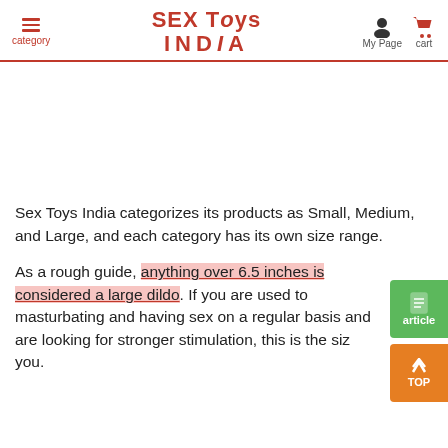SEX Toys INDIA — category | My Page | cart
Sex Toys India categorizes its products as Small, Medium, and Large, and each category has its own size range.
As a rough guide, anything over 6.5 inches is considered a large dildo. If you are used to masturbating and having sex on a regular basis and are looking for stronger stimulation, this is the size for you.